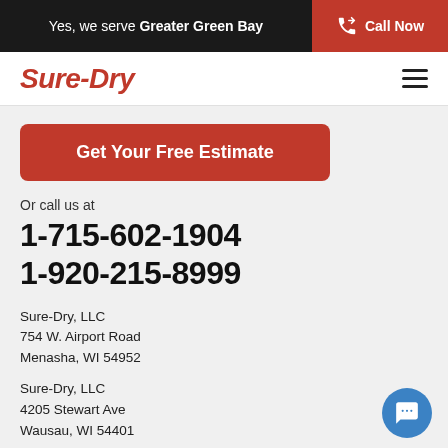Yes, we serve Greater Green Bay   Call Now
Sure-Dry
Get Your Free Estimate
Or call us at
1-715-602-1904
1-920-215-8999
Sure-Dry, LLC
754 W. Airport Road
Menasha, WI 54952
Sure-Dry, LLC
4205 Stewart Ave
Wausau, WI 54401